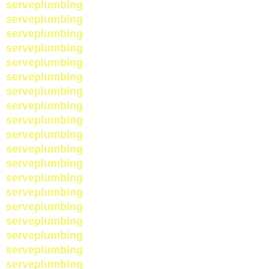serveplumbing
serveplumbing
serveplumbing
serveplumbing
serveplumbing
serveplumbing
serveplumbing
serveplumbing
serveplumbing
serveplumbing
serveplumbing
serveplumbing
serveplumbing
serveplumbing
serveplumbing
serveplumbing
serveplumbing
serveplumbing
serveplumbing